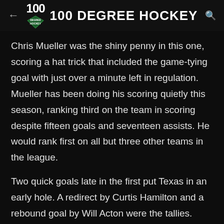100 DEGREE HOCKEY
Chris Mueller was the shiny penny in this one, scoring a hat trick that included the game-tying goal with just over a minute left in regulation. Mueller has been doing his scoring quietly this season, ranking third on the team in scoring despite fifteen goals and seventeen assists. He would rank first on all but three other teams in the league.
Two quick goals late in the first put Texas in an early hole. A redirect by Curtis Hamilton and a rebound goal by Will Acton were the tallies. Acton added another with Texas on the power play early in the second period,